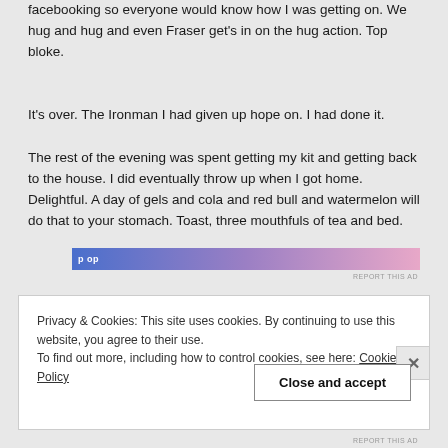facebooking so everyone would know how I was getting on. We hug and hug and even Fraser get's in on the hug action. Top bloke.
It's over. The Ironman I had given up hope on. I had done it.
The rest of the evening was spent getting my kit and getting back to the house. I did eventually throw up when I got home. Delightful. A day of gels and cola and red bull and watermelon will do that to your stomach. Toast, three mouthfuls of tea and bed.
[Figure (other): Advertisement banner with gradient from blue to pink]
Privacy & Cookies: This site uses cookies. By continuing to use this website, you agree to their use.
To find out more, including how to control cookies, see here: Cookie Policy
Close and accept